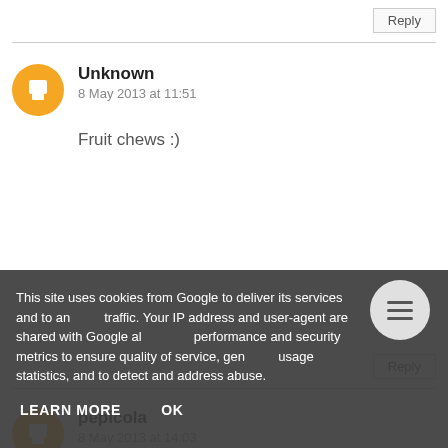Reply
Unknown
8 May 2013 at 11:51
Fruit chews :)
Reply
pepicola
8 May 2013 at 14:03
Strawberry pieces with yoghurt coating
Reply
This site uses cookies from Google to deliver its services and to analyze traffic. Your IP address and user-agent are shared with Google along with performance and security metrics to ensure quality of service, generate usage statistics, and to detect and address abuse.
LEARN MORE    OK